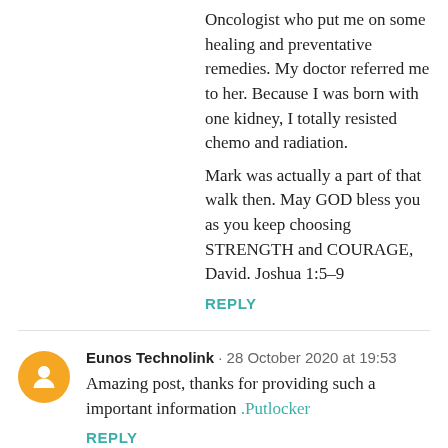Oncologist who put me on some healing and preventative remedies. My doctor referred me to her. Because I was born with one kidney, I totally resisted chemo and radiation.
Mark was actually a part of that walk then. May GOD bless you as you keep choosing STRENGTH and COURAGE, David. Joshua 1:5–9
REPLY
Eunos Technolink · 28 October 2020 at 19:53
Amazing post, thanks for providing such a important information .Putlocker
REPLY
To leave a comment, click the button below to sign in with Google.
SIGN IN WITH GOOGLE